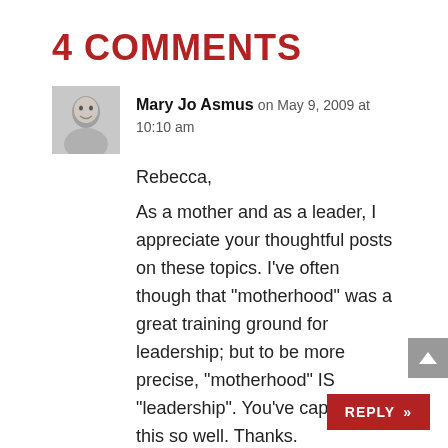4 COMMENTS
Mary Jo Asmus on May 9, 2009 at 10:10 am
Rebecca,

As a mother and as a leader, I appreciate your thoughtful posts on these topics. I've often though that “motherhood” was a great training ground for leadership; but to be more precise, “motherhood” IS “leadership”. You’ve captured this so well. Thanks.
REPLY